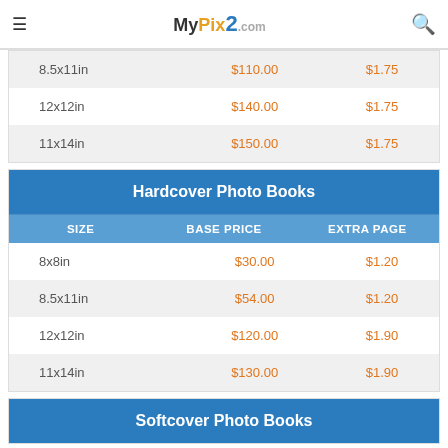MyPix2.com
| SIZE | BASE PRICE | EXTRA PAGE |
| --- | --- | --- |
| 8.5x11in | $110.00 | $1.75 |
| 12x12in | $140.00 | $1.75 |
| 11x14in | $150.00 | $1.75 |
Hardcover Photo Books
| SIZE | BASE PRICE | EXTRA PAGE |
| --- | --- | --- |
| 8x8in | $30.00 | $1.20 |
| 8.5x11in | $54.00 | $1.20 |
| 12x12in | $120.00 | $1.90 |
| 11x14in | $130.00 | $1.90 |
Softcover Photo Books